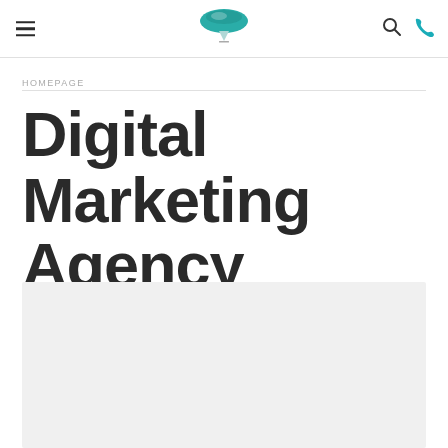[Figure (logo): Teal/green diamond-shaped logo with a triangular hat shape and a small stem, centered in the navigation header]
HOMEPAGE
Digital Marketing Agency
[Figure (photo): Light gray image placeholder area below the title]